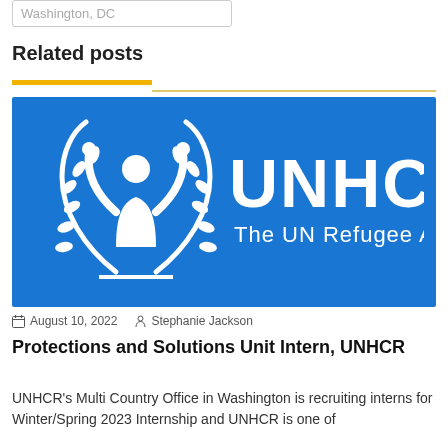Washington, DC
Related posts
[Figure (logo): UNHCR logo — white UNHCR emblem (person flanked by laurel wreath hands) and text 'UNHCR The UN Refugee Agency' on a blue background]
August 10, 2022   Stephanie Jackson
Protections and Solutions Unit Intern, UNHCR
UNHCR's Multi Country Office in Washington is recruiting interns for Winter/Spring 2023 Internship and UNHCR is one of...